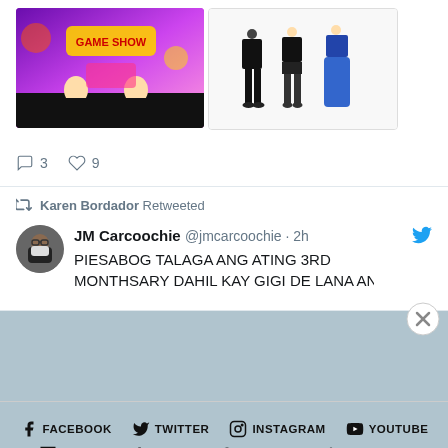[Figure (screenshot): Two images side by side: left shows a colorful TV/show screenshot with purple background and game-show graphics; right shows illustrated fashion figures on white background]
3  9
Karen Bordador Retweeted
JM Carcoochie @jmcarcoochie · 2h
PIESABOG TALAGA ANG ATING 3RD MONTHSARY DAHIL KAY GIGI DE LANA AND
FACEBOOK  TWITTER  INSTAGRAM  YOUTUBE  TWITCH  TIKTOK  SNAPCHAT  LINKEDIN
Advertisements
AUTOMATTIC
Build a better web and a better world.